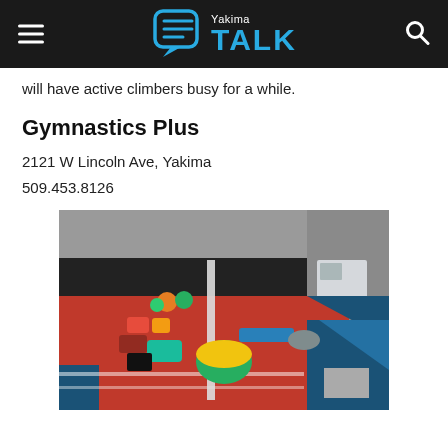Yakima TALK
will have active climbers busy for a while.
Gymnastics Plus
2121 W Lincoln Ave, Yakima
509.453.8126
[Figure (photo): Interior of Gymnastics Plus facility showing colorful gymnastics equipment including mats, foam blocks, rollers, and balance beams on a red floor with blue padding along the sides and black walls.]